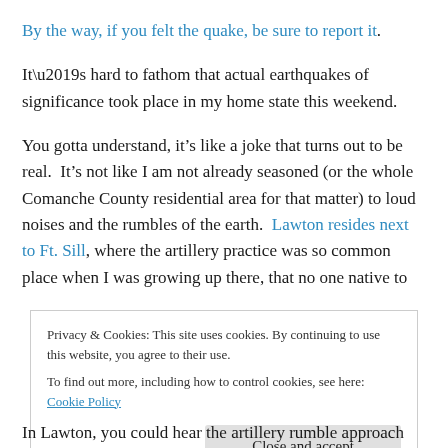By the way, if you felt the quake, be sure to report it.
It’s hard to fathom that actual earthquakes of significance took place in my home state this weekend.
You gotta understand, it’s like a joke that turns out to be real.  It’s not like I am not already seasoned (or the whole Comanche County residential area for that matter) to loud noises and the rumbles of the earth.  Lawton resides next to Ft. Sill, where the artillery practice was so common place when I was growing up there, that no one native to
Privacy & Cookies: This site uses cookies. By continuing to use this website, you agree to their use.
To find out more, including how to control cookies, see here: Cookie Policy
In Lawton, you could hear the artillery rumble approach